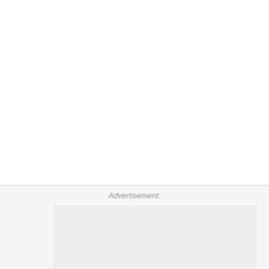Advertisement:
[Figure (illustration): Advertisement banner with red border containing two illustrated figures in red robes/togas facing each other, on a light grey background. A cyan X close button appears in the top-right corner of the ad container.]